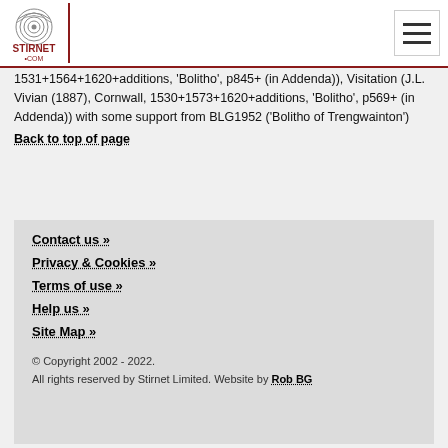Stirnet.com
1531+1564+1620+additions, 'Bolitho', p845+ (in Addenda)), Visitation (J.L. Vivian (1887), Cornwall, 1530+1573+1620+additions, 'Bolitho', p569+ (in Addenda)) with some support from BLG1952 ('Bolitho of Trengwainton')
Back to top of page
Contact us »
Privacy & Cookies »
Terms of use »
Help us »
Site Map »
© Copyright 2002 - 2022.
All rights reserved by Stirnet Limited. Website by Rob BG